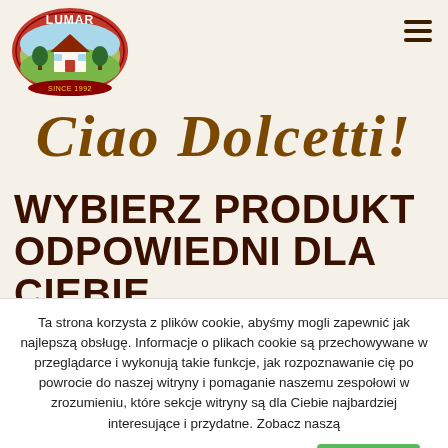[Figure (logo): Lumar confectionery brand logo — oval red badge with white LUMAR text and a countryside house illustration]
Ciao Dolcetti!
WYBIERZ PRODUKT ODPOWIEDNI DLA CIEBIE
Ta strona korzysta z plików cookie, abyśmy mogli zapewnić jak najlepszą obsługę. Informacje o plikach cookie są przechowywane w przeglądarce i wykonują takie funkcje, jak rozpoznawanie cię po powrocie do naszej witryny i pomaganie naszemu zespołowi w zrozumieniu, które sekcje witryny są dla Ciebie najbardziej interesujące i przydatne. Zobacz naszą
Politykę Cookies aby dowiedzieć się więcej Akceptuję